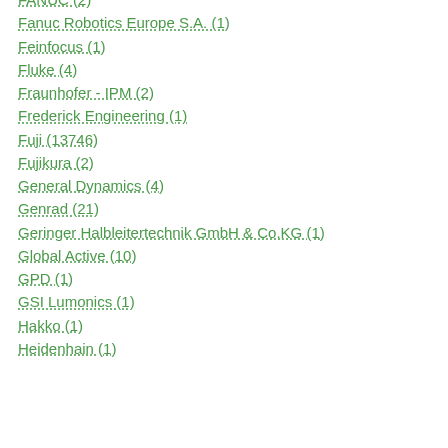FANUC (2)
Fanuc Robotics Europe S.A. (1)
Feinfocus (1)
Fluke (4)
Fraunhofer - IPM (2)
Frederick Engineering (1)
Fuji (13746)
Fujikura (2)
General Dynamics (4)
Genrad (21)
Geringer Halbleitertechnik GmbH & Co.KG (1)
Global Active (10)
GPD (1)
GSI Lumonics (1)
Hakko (1)
Heidenhain (1)